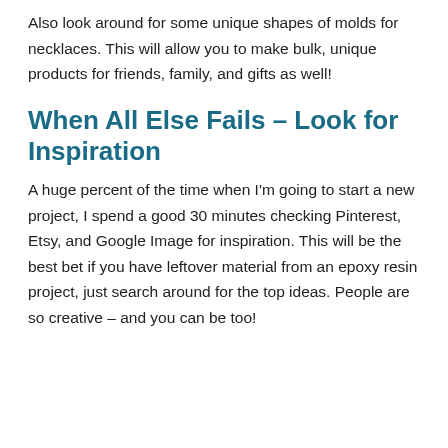Also look around for some unique shapes of molds for necklaces. This will allow you to make bulk, unique products for friends, family, and gifts as well!
When All Else Fails – Look for Inspiration
A huge percent of the time when I'm going to start a new project, I spend a good 30 minutes checking Pinterest, Etsy, and Google Image for inspiration. This will be the best bet if you have leftover material from an epoxy resin project, just search around for the top ideas. People are so creative – and you can be too!